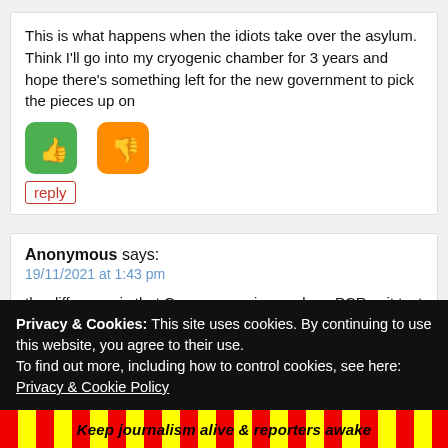This is what happens when the idiots take over the asylum. Think I'll go into my cryogenic chamber for 3 years and hope there's something left for the new government to pick the pieces up on
[Figure (illustration): Green thumbs-up button icon and orange thumbs-down button icon]
reply
Anonymous says:
19/11/2021 at 1:43 pm
the difference is that Cayman requires a clean PCR exit test from quarantine. Most other places just 10 days isolation. Could be in iso for a month.
Privacy & Cookies: This site uses cookies. By continuing to use this website, you agree to their use.
To find out more, including how to control cookies, see here: Privacy & Cookie Policy
Close and accept
Keep journalism alive & reporters awake